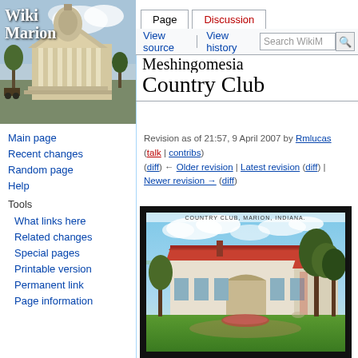[Figure (illustration): Wiki Marion logo with courthouse building illustration in sepia/color tones]
Meshingomesia Country Club
Revision as of 21:57, 9 April 2007 by Rmlucas (talk | contribs)
(diff) ← Older revision | Latest revision (diff) | Newer revision → (diff)
Main page
Recent changes
Random page
Help
Tools
What links here
Related changes
Special pages
Printable version
Permanent link
Page information
[Figure (photo): Vintage postcard image of Country Club, Marion, Indiana — a Spanish/Mission-style clubhouse with red tile roof, green lawn in foreground, trees on right side]